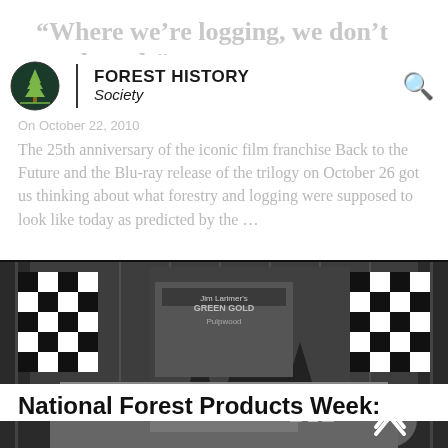"Where we're logging, we don't need roads"
FOREST HISTORY Society
The 25th anniversary of the iconic film franchise Back to the Future and the Blu-ray release of the trilogy on October 26 got us thinking about what forestry and logging were supposed to look like today as predicted by the ...
[Figure (photo): Black and white photograph of a trade show or exhibition display featuring forest products, with decorative checkered flags on both sides and product displays including what appears to be Green Gold Pulpwood signage in the center background.]
National Forest Products Week: October 17-23, 2010